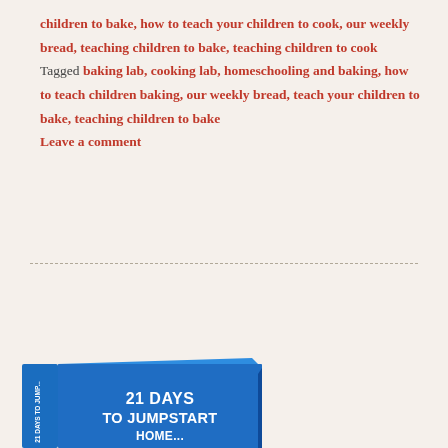children to bake, how to teach your children to cook, our weekly bread, teaching children to bake, teaching children to cook Tagged baking lab, cooking lab, homeschooling and baking, how to teach children baking, our weekly bread, teach your children to bake, teaching children to bake Leave a comment
[Figure (illustration): Blue 3D book cover titled '21 DAYS TO JUMPSTART' with spine text '21 DAYS TO JUMP...']